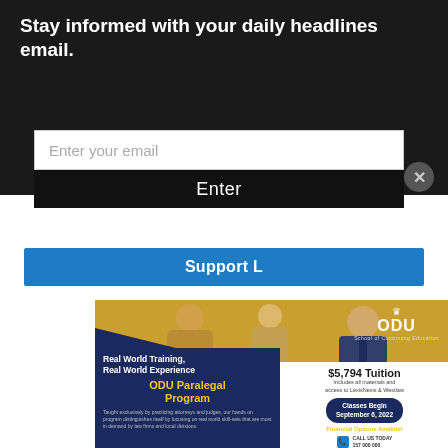Stay informed with your daily headlines email.
Enter your email
Enter
Support L
[Figure (infographic): ODU Paralegal Program advertisement showing professionals in business attire with navy and gold color scheme. Text: Real World Training, Real World Experience, ODU Paralegal Program, $5,794 Tuition includes all materials and access to LexisNexis & Westlaw, Classes Begin September 6, 2022, Financial Options Available!]